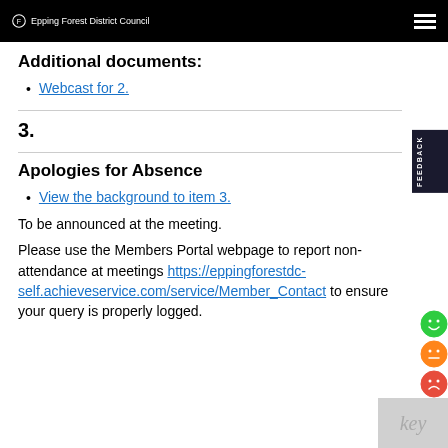Epping Forest District Council
Additional documents:
Webcast for 2.
3.
Apologies for Absence
View the background to item 3.
To be announced at the meeting.
Please use the Members Portal webpage to report non-attendance at meetings https://eppingforestdc-self.achieveservice.com/service/Member_Contact to ensure your query is properly logged.